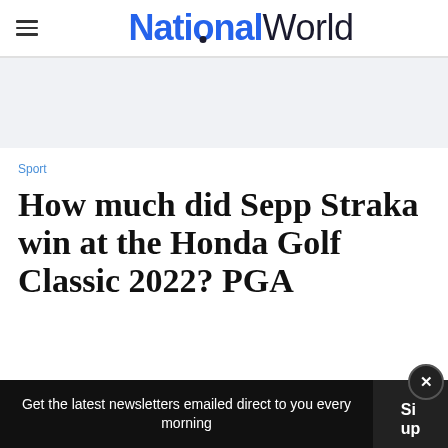National World
[Figure (other): Gray advertisement banner placeholder]
Sport
How much did Sepp Straka win at the Honda Golf Classic 2022? PGA
Get the latest newsletters emailed direct to you every morning  Sign up